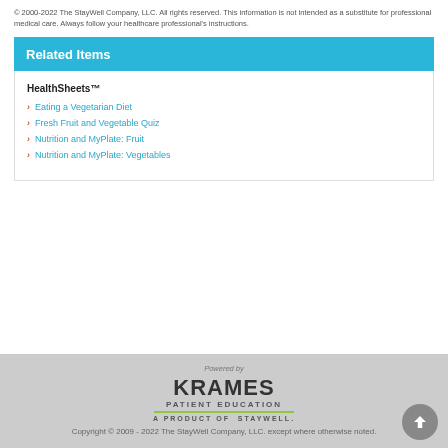© 2000-2022 The StayWell Company, LLC. All rights reserved. This information is not intended as a substitute for professional medical care. Always follow your healthcare professional's instructions.
Related Items
HealthSheets™
Eating a Vegetarian Diet
Fresh Fruit and Vegetable Quiz
Nutrition and MyPlate: Fruit
Nutrition and MyPlate: Vegetables
[Figure (logo): Krames Patient Education - A Product of StayWell logo]
Copyright © 2009 - 2022 The StayWell Company, LLC. except where otherwise noted.